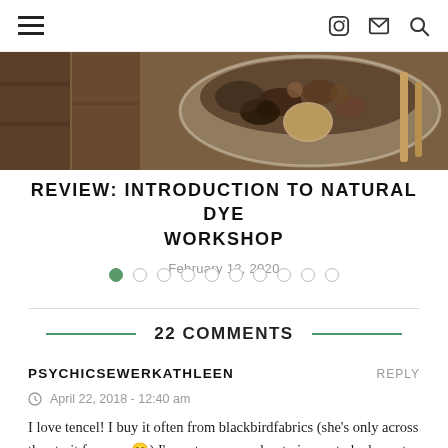≡ [hamburger menu] [instagram icon] [email icon] [search icon]
[Figure (photo): Close-up photo of dried plants, seeds, and natural dye materials in a glass jar on a wooden surface]
REVIEW: INTRODUCTION TO NATURAL DYE WORKSHOP
February 12, 2020
Pagination dots: 1 active, 9 inactive
22 COMMENTS
PSYCHICSEWERKATHLEEN
REPLY
April 22, 2018 - 12:40 am
I love tencel! I buy it often from blackbirdfabrics (she's only across the strait from me 🙂) I'm not so crazy about viscose to be honest